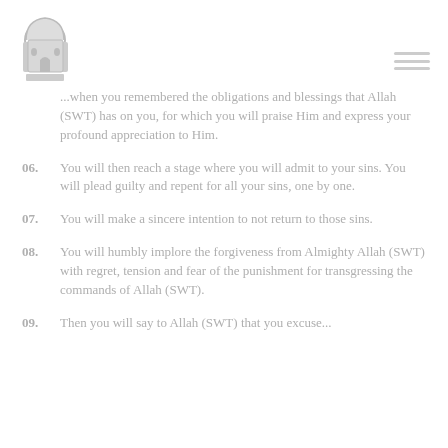[Figure (logo): Mosque/Islamic institution logo in grey tones, top left]
...when you remembered the obligations and blessings that Allah (SWT) has on you, for which you will praise Him and express your profound appreciation to Him.
06. You will then reach a stage where you will admit to your sins. You will plead guilty and repent for all your sins, one by one.
07. You will make a sincere intention to not return to those sins.
08. You will humbly implore the forgiveness from Almighty Allah (SWT) with regret, tension and fear of the punishment for transgressing the commands of Allah (SWT).
09. Then you will say to Allah (SWT) that you excuse...